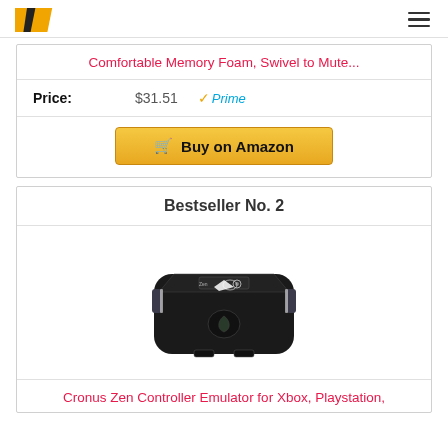W (logo) | hamburger menu
Comfortable Memory Foam, Swivel to Mute...
Price: $31.51 Prime
Buy on Amazon
Bestseller No. 2
[Figure (photo): Cronus Zen Controller Emulator device - black gaming adapter with logo on top]
Cronus Zen Controller Emulator for Xbox, Playstation,